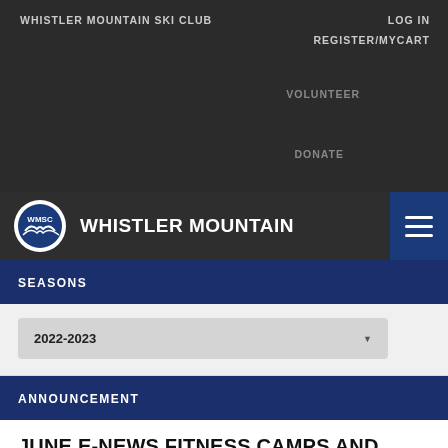WHISTLER MOUNTAIN SKI CLUB
LOG IN
REGISTER/MYCART
VOLUNTEER
DONATE
WHISTLER MOUNTAIN
SEASONS
2022-2023
ANNOUNCEMENT
JUNE E-NEWS FITNESS CAMPS AND MORE